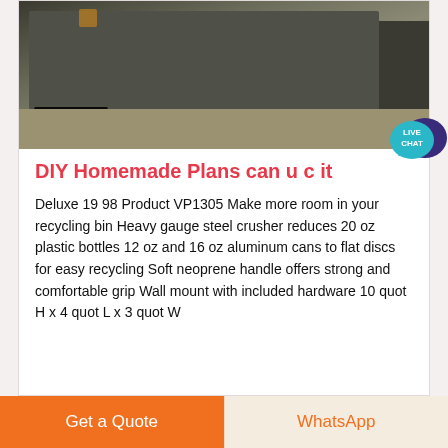[Figure (photo): Industrial machinery photo showing heavy equipment in a warehouse/factory setting with chains on the floor]
DIY Homemade Plans can u c it
Deluxe 19 98 Product VP1305 Make more room in your recycling bin Heavy gauge steel crusher reduces 20 oz plastic bottles 12 oz and 16 oz aluminum cans to flat discs for easy recycling Soft neoprene handle offers strong and comfortable grip Wall mount with included hardware 10 quot H x 4 quot L x 3 quot W